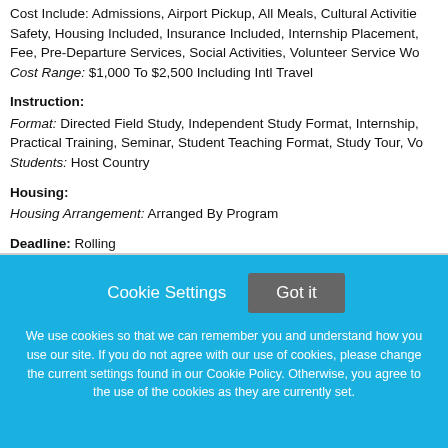Cost Include: Admissions, Airport Pickup, All Meals, Cultural Activities, Safety, Housing Included, Insurance Included, Internship Placement, Fee, Pre-Departure Services, Social Activities, Volunteer Service Wo... Cost Range: $1,000 To $2,500 Including Intl Travel
Instruction:
Format: Directed Field Study, Independent Study Format, Internship, Practical Training, Seminar, Student Teaching Format, Study Tour, Vo... Students: Host Country
Housing:
Housing Arrangement: Arranged By Program
Deadline: Rolling
Cookie Settings  Got it
We use cookies so that we can remember you and understand how you use our site. If you do not agree with our use of cookies, please change the current settings found in our Cookie Policy. Otherwise, you agree to the use of the cookies as they are currently set.